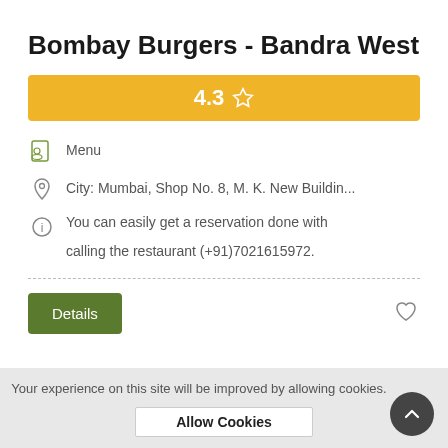Bombay Burgers - Bandra West
[Figure (infographic): Rating bar showing 4.3 with a star icon on yellow/golden background]
Menu
City: Mumbai, Shop No. 8, M. K. New Buildin...
You can easily get a reservation done with calling the restaurant (+91)7021615972.
Details
Your experience on this site will be improved by allowing cookies.
Allow Cookies